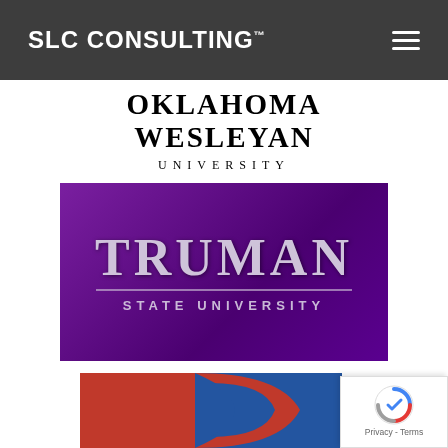SLC CONSULTING™
[Figure (logo): Oklahoma Wesleyan University text logo in serif font]
[Figure (logo): Truman State University logo on purple gradient background]
[Figure (logo): Partial red and blue logo at bottom of page]
[Figure (other): reCAPTCHA badge with Privacy - Terms text]